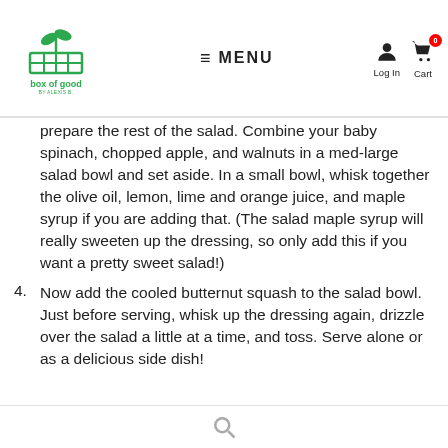box of good — MENU — Log In — Cart 0
prepare the rest of the salad. Combine your baby spinach, chopped apple, and walnuts in a med-large salad bowl and set aside. In a small bowl, whisk together the olive oil, lemon, lime and orange juice, and maple syrup if you are adding that. (The salad maple syrup will really sweeten up the dressing, so only add this if you want a pretty sweet salad!)
4. Now add the cooled butternut squash to the salad bowl. Just before serving, whisk up the dressing again, drizzle over the salad a little at a time, and toss. Serve alone or as a delicious side dish!
Search